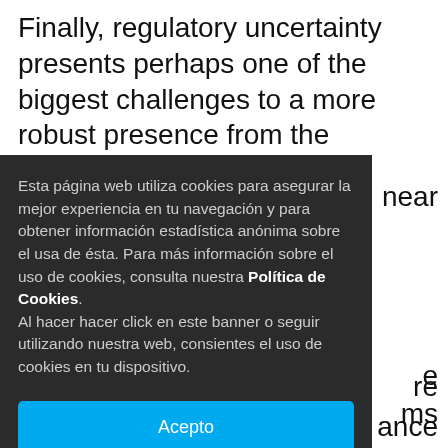Finally, regulatory uncertainty presents perhaps one of the biggest challenges to a more robust presence from the insurance
[Figure (screenshot): Cookie consent banner overlay in Spanish on a dark background. Text reads: 'Esta página web utiliza cookies para asegurar la mejor experiencia en tu navegación y para obtener información estadística anónima sobre el usa de ésta. Para más información sobre el uso de cookies, consulta nuestra Política de Cookies. Al hacer hacer click en este banner o seguir utilizando nuestra web, consientes el uso de cookies en tu dispositivo.' with an 'Acepto' (Accept) button in cyan/blue.]
...near ...re ...ance ...e ...ms ...ng ...hat it ...d